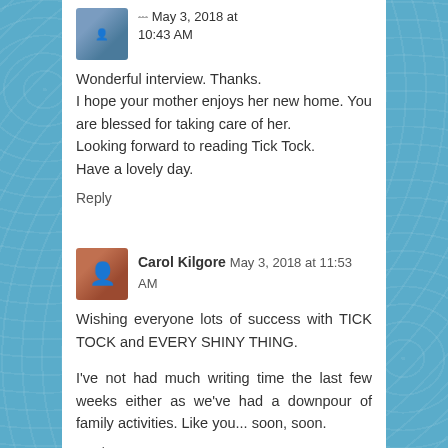Wonderful interview. Thanks.
I hope your mother enjoys her new home. You are blessed for taking care of her.
Looking forward to reading Tick Tock.
Have a lovely day.
Reply
Carol Kilgore May 3, 2018 at 11:53 AM
Wishing everyone lots of success with TICK TOCK and EVERY SHINY THING.
I've not had much writing time the last few weeks either as we've had a downpour of family activities. Like you... soon, soon.
Reply
Danielle H. May 3, 2018 at 2:50 PM